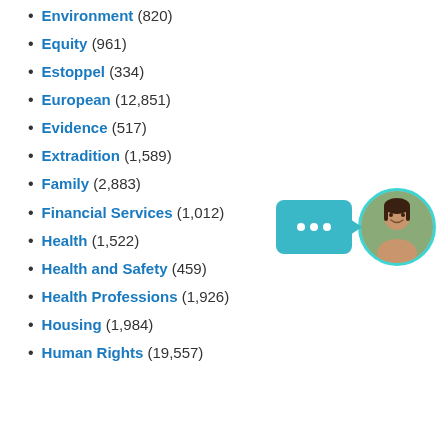Environment (820)
Equity (961)
Estoppel (334)
European (12,851)
Evidence (517)
Extradition (1,589)
Family (2,883)
Financial Services (1,012)
Health (1,522)
Health and Safety (459)
Health Professions (1,926)
Housing (1,984)
Human Rights (19,557)
[Figure (illustration): Chat widget with teal speech bubble with three dots and circular avatar of a smiling woman]